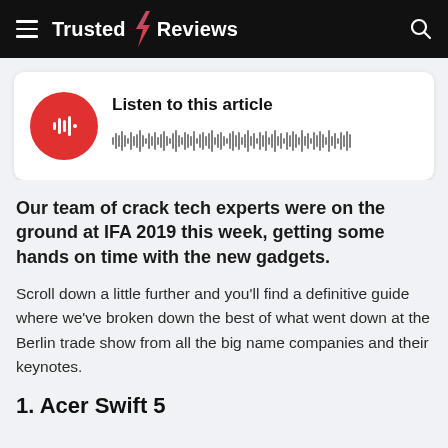Trusted Reviews
[Figure (other): Audio player widget with red circular play button and waveform visualization. Text reads: Listen to this article]
Our team of crack tech experts were on the ground at IFA 2019 this week, getting some hands on time with the new gadgets.
Scroll down a little further and you'll find a definitive guide where we've broken down the best of what went down at the Berlin trade show from all the big name companies and their keynotes.
1. Acer Swift 5